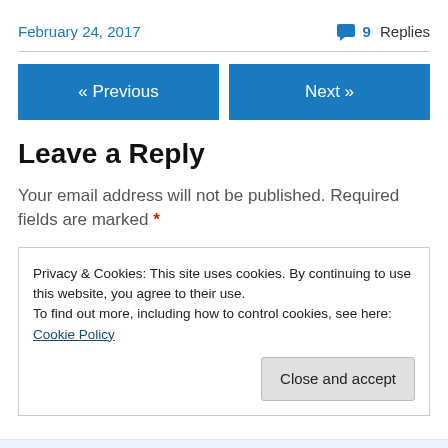February 24, 2017
9 Replies
« Previous
Next »
Leave a Reply
Your email address will not be published. Required fields are marked *
Privacy & Cookies: This site uses cookies. By continuing to use this website, you agree to their use.
To find out more, including how to control cookies, see here: Cookie Policy
Close and accept